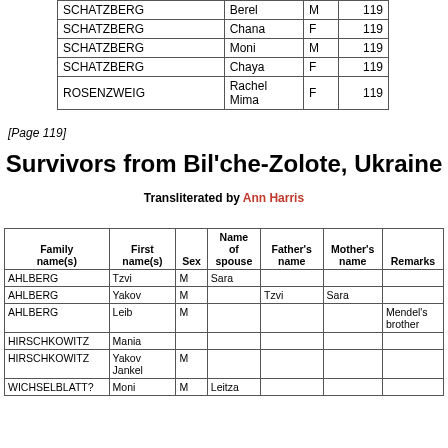| Family name(s) | First name(s) | Sex | Name of spouse | Father's name | Mother's name | Remarks |
| --- | --- | --- | --- | --- | --- | --- |
| SCHATZBERG | Berel | M |  |  |  | 119 |
| SCHATZBERG | Chana | F |  |  |  | 119 |
| SCHATZBERG | Moni | M |  |  |  | 119 |
| SCHATZBERG | Chaya | F |  |  |  | 119 |
| ROSENZWEIG | Rachel Mima | F |  |  |  | 119 |
[Page 119]
Survivors from Bil'che-Zolote, Ukraine
Transliterated by Ann Harris
| Family name(s) | First name(s) | Sex | Name of spouse | Father's name | Mother's name | Remarks |
| --- | --- | --- | --- | --- | --- | --- |
| AHLBERG | Tzvi | M | Sara |  |  |  |
| AHLBERG | Yakov | M |  | Tzvi | Sara |  |
| AHLBERG | Leib | M |  |  |  | Mendel's brother |
| HIRSCHKOWITZ | Mania |  |  |  |  |  |
| HIRSCHKOWITZ | Yakov Jankel | M |  |  |  |  |
| WICHSELBLATT? | Moni | M | Leitza |  |  |  |